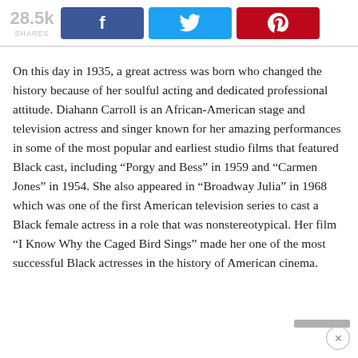28.5k SHARES [Facebook] [Twitter] [Pinterest]
On this day in 1935, a great actress was born who changed the history because of her soulful acting and dedicated professional attitude. Diahann Carroll is an African-American stage and television actress and singer known for her amazing performances in some of the most popular and earliest studio films that featured Black cast, including “Porgy and Bess” in 1959 and “Carmen Jones” in 1954. She also appeared in “Broadway Julia” in 1968 which was one of the first American television series to cast a Black female actress in a role that was nonstereotypical. Her film “I Know Why the Caged Bird Sings” made her one of the most successful Black actresses in the history of American cinema.